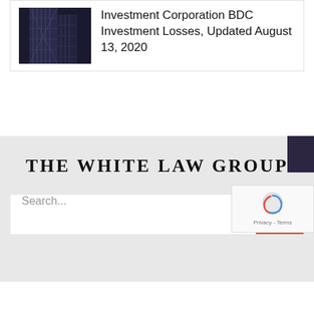[Figure (photo): Tall glass skyscraper building photographed from below, dark tones]
Investment Corporation BDC Investment Losses, Updated August 13, 2020
[Figure (logo): The White Law Group logo text in serif bold uppercase]
Search...
[Figure (other): reCAPTCHA Privacy - Terms widget]